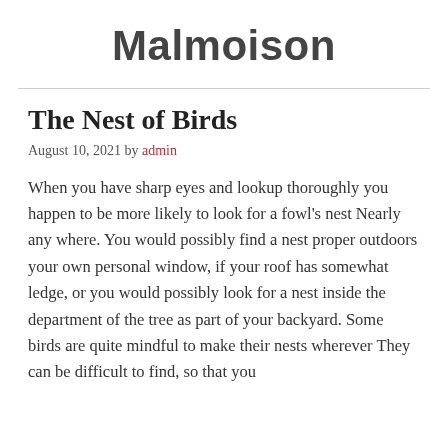Malmoison
The Nest of Birds
August 10, 2021 by admin
When you have sharp eyes and lookup thoroughly you happen to be more likely to look for a fowl's nest Nearly any where. You would possibly find a nest proper outdoors your own personal window, if your roof has somewhat ledge, or you would possibly look for a nest inside the department of the tree as part of your backyard. Some birds are quite mindful to make their nests wherever They can be difficult to find, so that you